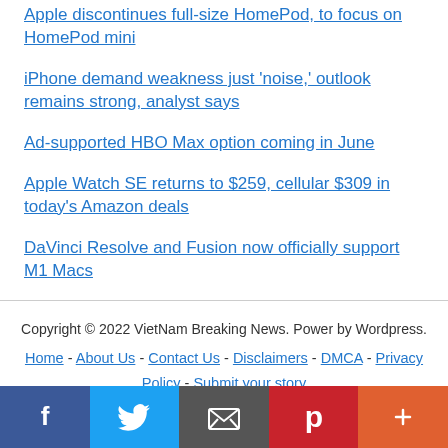Apple discontinues full-size HomePod, to focus on HomePod mini
iPhone demand weakness just 'noise,' outlook remains strong, analyst says
Ad-supported HBO Max option coming in June
Apple Watch SE returns to $259, cellular $309 in today's Amazon deals
DaVinci Resolve and Fusion now officially support M1 Macs
Copyright © 2022 VietNam Breaking News. Power by Wordpress. Home - About Us - Contact Us - Disclaimers - DMCA - Privacy Policy - Submit your story